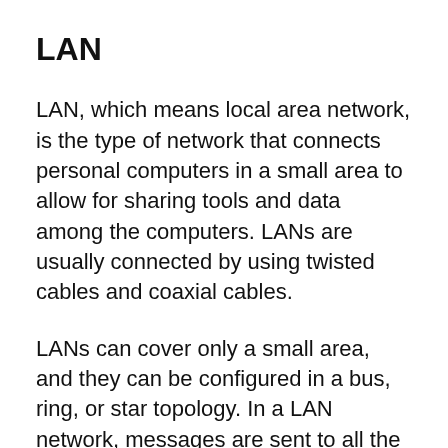LAN
LAN, which means local area network, is the type of network that connects personal computers in a small area to allow for sharing tools and data among the computers. LANs are usually connected by using twisted cables and coaxial cables.
LANs can cover only a small area, and they can be configured in a bus, ring, or star topology. In a LAN network, messages are sent to all the